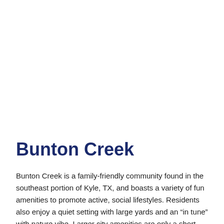Bunton Creek
Bunton Creek is a family-friendly community found in the southeast portion of Kyle, TX, and boasts a variety of fun amenities to promote active, social lifestyles. Residents also enjoy a quiet setting with large yards and an “in tune” with nature vibe. Larger city amenities are only a short ride away as are local shops and restaurants that can be found further in town.